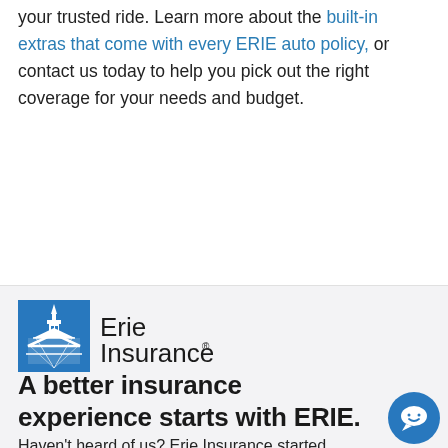your trusted ride. Learn more about the built-in extras that come with every ERIE auto policy, or contact us today to help you pick out the right coverage for your needs and budget.
[Figure (logo): Erie Insurance logo — blue building icon on left with 'Erie Insurance' text and registered trademark symbol]
A better insurance experience starts with ERIE.
Haven't heard of us? Erie Insurance started